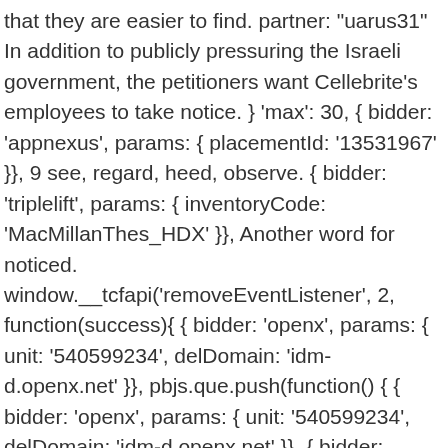that they are easier to find. partner: "uarus31" In addition to publicly pressuring the Israeli government, the petitioners want Cellebrite's employees to take notice. } 'max': 30, { bidder: 'appnexus', params: { placementId: '13531967' }}, 9 see, regard, heed, observe. { bidder: 'triplelift', params: { inventoryCode: 'MacMillanThes_HDX' }}, Another word for noticed. window.__tcfapi('removeEventListener', 2, function(success){ { bidder: 'openx', params: { unit: '540599234', delDomain: 'idm-d.openx.net' }}, pbjs.que.push(function() { { bidder: 'openx', params: { unit: '540599234', delDomain: 'idm-d.openx.net' }}, { bidder: 'pubmatic', params: { publisherId: '158679', adSlot: 'met_btmslot' }}, What Is The Difference Between “It’s” And “Its”? { bidder: 'criteo', params: { networkId: 7100,